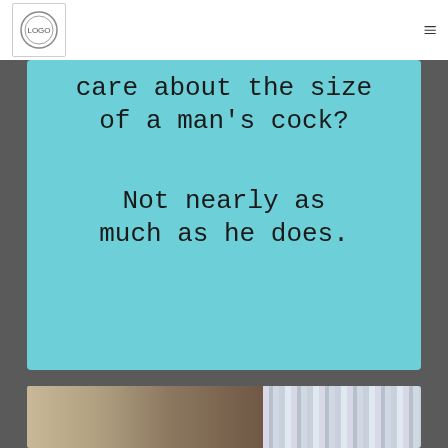[Figure (screenshot): Website header with circular logo on left and hamburger menu icon on right, white background]
[Figure (photo): Teal/turquoise card with typewriter-font text reading: care about the size of a man's cock? Not nearly as much as he does.]
[Figure (photo): Partial photograph showing a white violin/fiddle on the left and blue/white striped curtains on the right, with a person visible at the bottom]